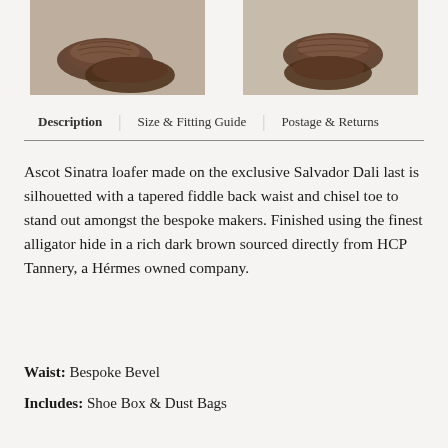[Figure (photo): Two photos of dark brown alligator hide loafer shoes side by side, cropped at top]
Description | Size & Fitting Guide | Postage & Returns
Ascot Sinatra loafer made on the exclusive Salvador Dali last is silhouetted with a tapered fiddle back waist and chisel toe to stand out amongst the bespoke makers. Finished using the finest alligator hide in a rich dark brown sourced directly from HCP Tannery, a Hérmes owned company.
Waist: Bespoke Bevel
Includes: Shoe Box & Dust Bags